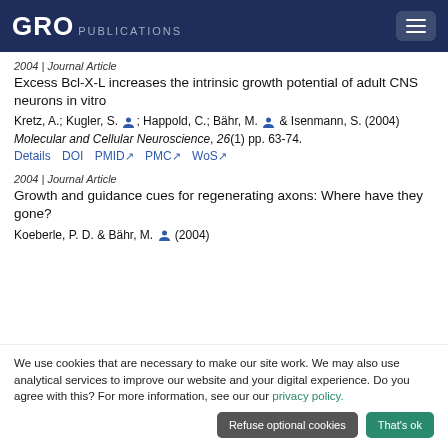GRO PUBLICATIONS
2004 | Journal Article
Excess Bcl-X-L increases the intrinsic growth potential of adult CNS neurons in vitro
Kretz, A.; Kugler, S. [person icon]; Happold, C.; Bähr, M. [person icon] & Isenmann, S. (2004)
Molecular and Cellular Neuroscience, 26(1) pp. 63-74.
Details  DOI  PMID↗  PMC↗  WoS↗
2004 | Journal Article
Growth and guidance cues for regenerating axons: Where have they gone?
Koeberle, P. D. & Bähr, M. [person icon] (2004)
We use cookies that are necessary to make our site work. We may also use analytical services to improve our website and your digital experience. Do you agree with this? For more information, see our our privacy policy.
Refuse optional cookies  That's ok